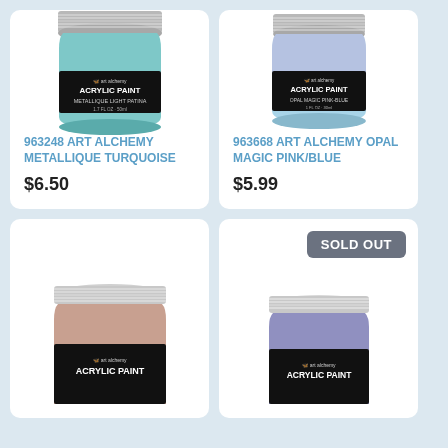[Figure (photo): Jar of Prima Art Alchemy Acrylic Paint - Metallique Turquoise, turquoise paint visible, silver metal lid, black label]
963248 ART ALCHEMY METALLIQUE TURQUOISE
$6.50
[Figure (photo): Jar of Prima Art Alchemy Acrylic Paint - Opal Magic Pink/Blue, iridescent pink-blue paint visible, silver metal lid, black label]
963668 ART ALCHEMY OPAL MAGIC PINK/BLUE
$5.99
[Figure (photo): Jar of Prima Art Alchemy Acrylic Paint, mauve/brown paint visible, silver metal lid, partial view cropped at bottom]
[Figure (photo): Jar of Prima Art Alchemy Acrylic Paint, partially visible, cropped at bottom, with Sold Out badge]
SOLD OUT